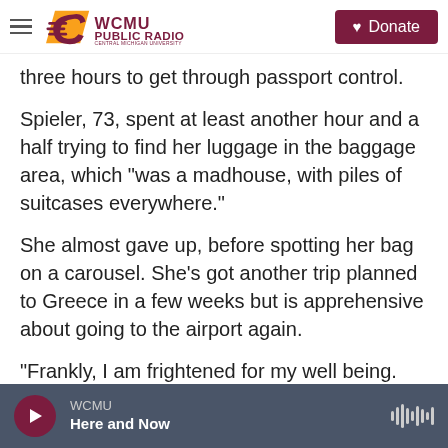WCMU PUBLIC RADIO — Central Michigan University | Donate
three hours to get through passport control.
Spieler, 73, spent at least another hour and a half trying to find her luggage in the baggage area, which "was a madhouse, with piles of suitcases everywhere."
She almost gave up, before spotting her bag on a carousel. She's got another trip planned to Greece in a few weeks but is apprehensive about going to the airport again.
"Frankly, I am frightened for my well being. Am I strong enough to withstand this?" Spieler said by
WCMU — Here and Now